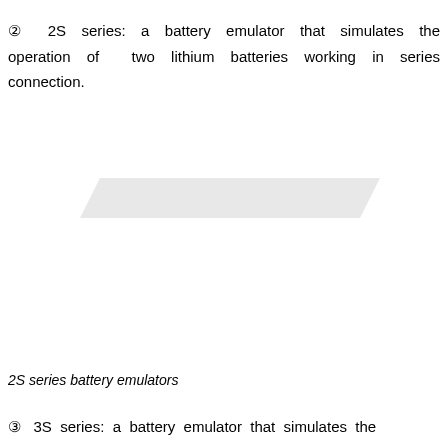② 2S series: a battery emulator that simulates the operation of two lithium batteries working in series connection.
[Figure (schematic): A parallelogram-shaped light grey banner/background element representing the 2S series battery emulator configuration graphic area.]
2S series battery emulators
③ 3S series: a battery emulator that simulates the